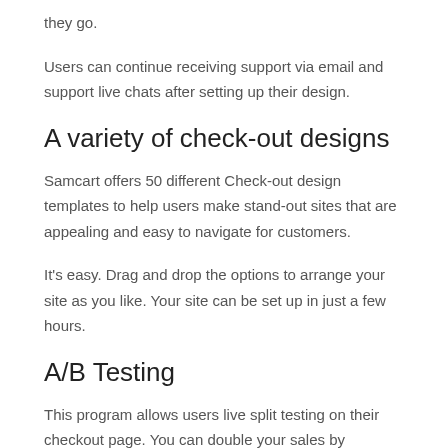they go.
Users can continue receiving support via email and support live chats after setting up their design.
A variety of check-out designs
Samcart offers 50 different Check-out design templates to help users make stand-out sites that are appealing and easy to navigate for customers.
It's easy. Drag and drop the options to arrange your site as you like. Your site can be set up in just a few hours.
A/B Testing
This program allows users live split testing on their checkout page. You can double your sales by calibrating your site to decrease your shopping cart desertion rate.